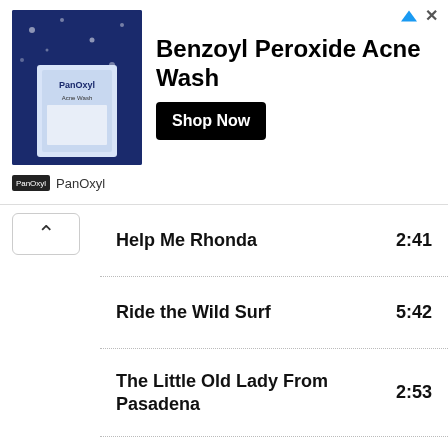[Figure (infographic): Advertisement banner for PanOxyl Benzoyl Peroxide Acne Wash with product image, title, Shop Now button, and brand logo]
| Song | Duration |
| --- | --- |
| Help Me Rhonda | 2:41 |
| Ride the Wild Surf | 5:42 |
| The Little Old Lady From Pasadena | 2:53 |
| Dead Man's Curve | 4:03 |
| I Get Around | 3:21 |
| Fun Fun Fun | 2:09 |
| Surf City | 2:40 |
| Barbara Ann | 3:24 |